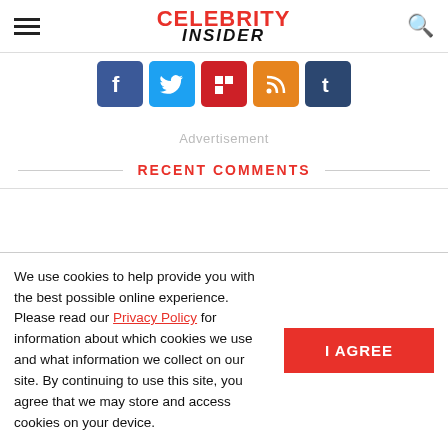Celebrity Insider
[Figure (logo): Celebrity Insider logo with hamburger menu and search icon]
[Figure (infographic): Social media icons: Facebook, Twitter, Flipboard, RSS, Tumblr]
Advertisement
RECENT COMMENTS
We use cookies to help provide you with the best possible online experience. Please read our Privacy Policy for information about which cookies we use and what information we collect on our site. By continuing to use this site, you agree that we may store and access cookies on your device.